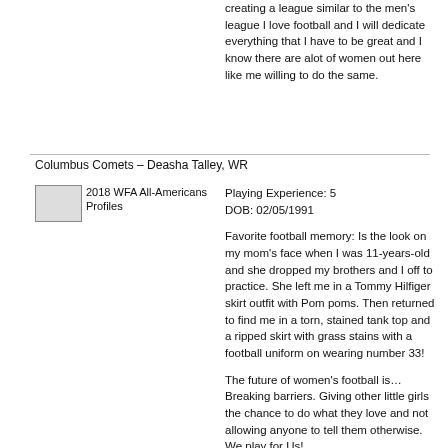creating a league similar to the men's league I love football and I will dedicate everything that I have to be great and I know there are alot of women out here like me willing to do the same.
Columbus Comets – Deasha Talley, WR
[Figure (photo): 2018 WFA All-Americans Profiles placeholder image]
Playing Experience: 5
DOB: 02/05/1991
Favorite football memory: Is the look on my mom's face when I was 11-years-old and she dropped my brothers and I off to practice. She left me in a Tommy Hilfiger skirt outfit with Pom poms. Then returned to find me in a torn, stained tank top and a ripped skirt with grass stains with a football uniform on wearing number 33!
The future of women's football is… Breaking barriers. Giving other little girls the chance to do what they love and not allowing anyone to tell them otherwise. We play for Us!